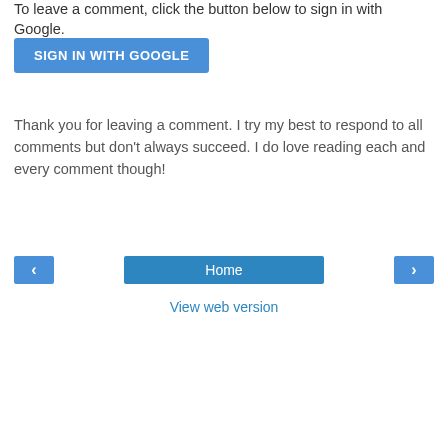To leave a comment, click the button below to sign in with Google.
[Figure (other): Blue 'SIGN IN WITH GOOGLE' button]
Thank you for leaving a comment. I try my best to respond to all comments but don't always succeed. I do love reading each and every comment though!
[Figure (other): Navigation row with left arrow button, Home button, and right arrow button]
View web version